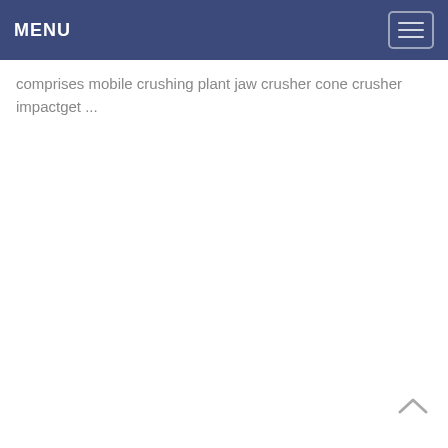MENU
comprises mobile crushing plant jaw crusher cone crusher impactget ...